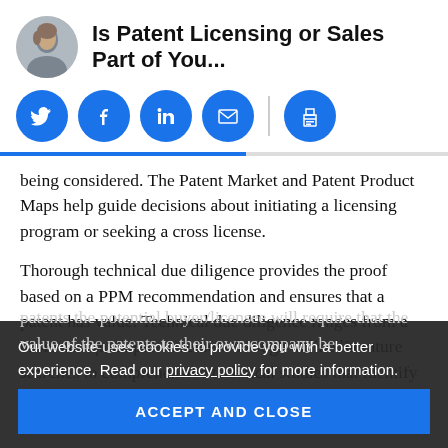Is Patent Licensing or Sales Part of You...
[Figure (illustration): Social media share icons: Twitter, Facebook, LinkedIn, Email, Print (blue circles with white icons)]
being considered. The Patent Market and Patent Product Maps help guide decisions about initiating a licensing program or seeking a cross license.
Thorough technical due diligence provides the proof based on a PPM recommendation and ensures that a patent has value. Technical due diligence ranges from a basic and quick patent review through online literature searches to comprehensive technical studies that identify and map claim elements to applicable products/devices. During the sale or licensing of patents the potential buyer/licensee will require that the value of the patents to their own company be
Our website uses cookies to provide you with a better experience. Read our privacy policy for more information.
ACCEPT AND CLOSE